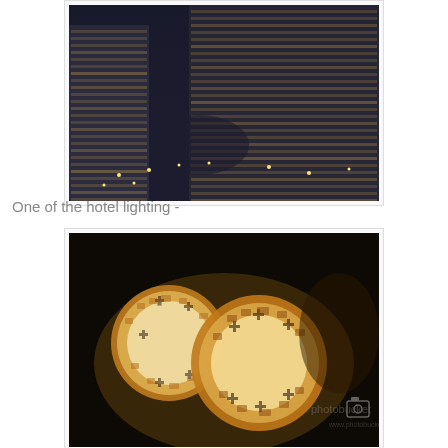[Figure (photo): Aerial night view of a large curved hotel or city complex with illuminated windows and street lights below, taken from above.]
One of the hotel lighting -
[Figure (photo): Close-up photo of two glowing spherical lamp fixtures made of interlocking wooden or plastic cube-shaped pieces, lit from within against a dark background. A Photobucket watermark is visible.]